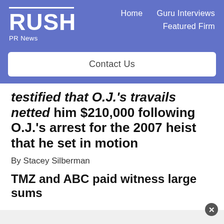[Figure (logo): RUSH PR News logo with white bar above text on blue background]
Home   Guru Interviews   Featured Firm
Contact Us
testified that O.J.'s travails netted him $210,000 following O.J.'s arrest for the 2007 heist that he set in motion
By Stacey Silberman
TMZ and ABC paid witness large sums